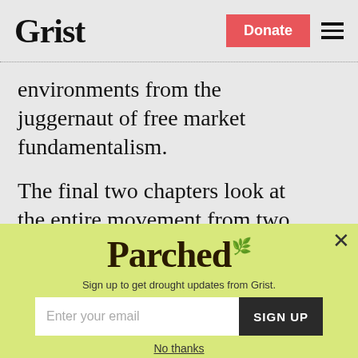Grist | Donate
environments from the juggernaut of free market fundamentalism.
The final two chapters look at the entire movement from two perspectives. "Immunity" uses the cellular metaphor of how an organism defends itself as a plausible way to describe the collective
[Figure (other): Parched newsletter signup modal overlay on a yellow-green background with email input and SIGN UP button and No thanks link]
No thanks